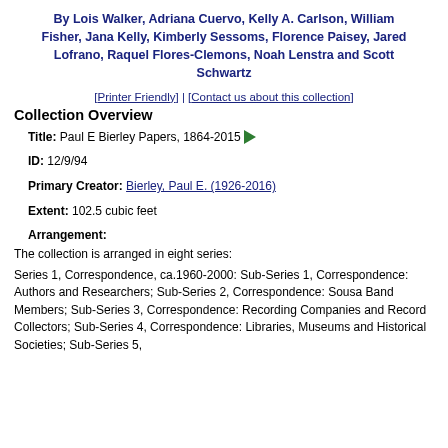By Lois Walker, Adriana Cuervo, Kelly A. Carlson, William Fisher, Jana Kelly, Kimberly Sessoms, Florence Paisey, Jared Lofrano, Raquel Flores-Clemons, Noah Lenstra and Scott Schwartz
[Printer Friendly] | [Contact us about this collection]
Collection Overview
Title: Paul E Bierley Papers, 1864-2015
ID: 12/9/94
Primary Creator: Bierley, Paul E. (1926-2016)
Extent: 102.5 cubic feet
Arrangement:
The collection is arranged in eight series:
Series 1, Correspondence, ca.1960-2000: Sub-Series 1, Correspondence: Authors and Researchers; Sub-Series 2, Correspondence: Sousa Band Members; Sub-Series 3, Correspondence: Recording Companies and Record Collectors; Sub-Series 4, Correspondence: Libraries, Museums and Historical Societies; Sub-Series 5, Correspondence: Universities and Colleges; Sub-Series 6,